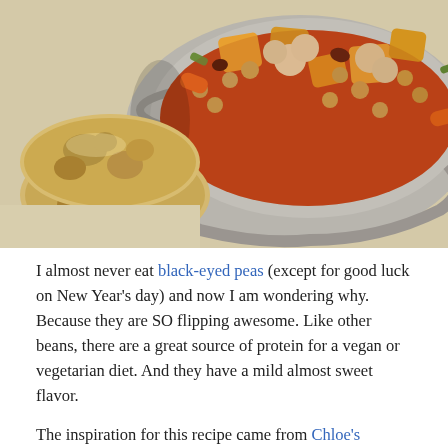[Figure (photo): A photo of a rustic ceramic bowl filled with a colorful vegetable and black-eyed pea stew (chickpeas, cauliflower, carrots, potatoes in tomato sauce) and two round flatbreads (poori) on a light surface in the foreground.]
I almost never eat black-eyed peas (except for good luck on New Year's day) and now I am wondering why. Because they are SO flipping awesome. Like other beans, there are a great source of protein for a vegan or vegetarian diet. And they have a mild almost sweet flavor.
The inspiration for this recipe came from Chloe's Kitchen,